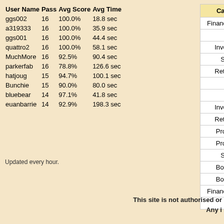| User Name | Pass | Avg Score | Avg Time |
| --- | --- | --- | --- |
| ggs002 | 16 | 100.0% | 18.8 sec |
| a319333 | 16 | 100.0% | 35.9 sec |
| ggs001 | 16 | 100.0% | 44.4 sec |
| quattro2 | 16 | 100.0% | 58.1 sec |
| MuchMore | 16 | 92.5% | 90.4 sec |
| parkerfab | 16 | 78.8% | 126.6 sec |
| hatjoug | 15 | 94.7% | 100.1 sec |
| Bunchie | 15 | 90.0% | 80.0 sec |
| bluebear | 14 | 97.1% | 41.8 sec |
| euanbarrie | 14 | 92.9% | 198.3 sec |
Updated every hour.
| Category | Di... |
| --- | --- |
| Financial Advice | Ad... |
| Tax | Ad... |
| Investment | Ad... |
| Saving | Be... |
| Retirement | Ad... |
| Tax | Be... |
| Kids | Ad... |
| Investment | Be... |
| Retirement | Be... |
| Protection | Ad... |
| Protection | Be... |
| Saving | Ad... |
| Borrowing | Be... |
| Borrowing | Ad... |
| Financial Advice | Be... |
| Kids | Be... |
Updated every hour. Fast...
This site is not authorised or
Any i...